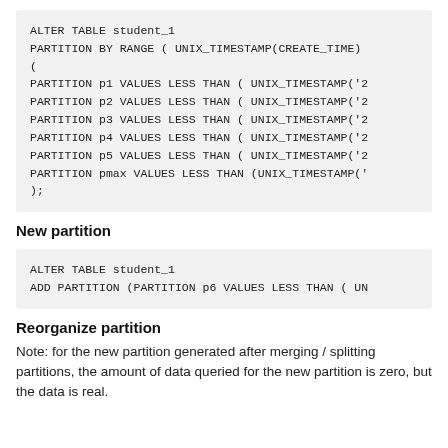ALTER TABLE student_1
PARTITION BY RANGE ( UNIX_TIMESTAMP(CREATE_TIME)
(
PARTITION p1 VALUES LESS THAN ( UNIX_TIMESTAMP('2
PARTITION p2 VALUES LESS THAN ( UNIX_TIMESTAMP('2
PARTITION p3 VALUES LESS THAN ( UNIX_TIMESTAMP('2
PARTITION p4 VALUES LESS THAN ( UNIX_TIMESTAMP('2
PARTITION p5 VALUES LESS THAN ( UNIX_TIMESTAMP('2
PARTITION pmax VALUES LESS THAN (UNIX_TIMESTAMP('
);
New partition
ALTER TABLE student_1
ADD PARTITION (PARTITION p6 VALUES LESS THAN ( UN
Reorganize partition
Note: for the new partition generated after merging / splitting partitions, the amount of data queried for the new partition is zero, but the data is real.